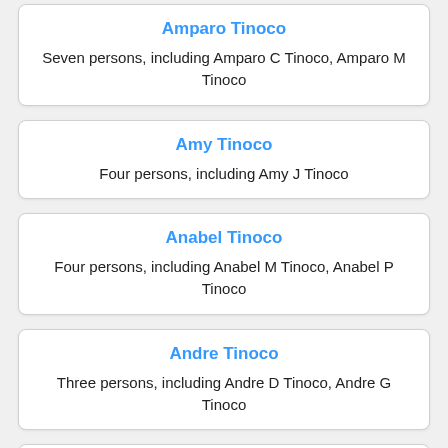Amparo Tinoco
Seven persons, including Amparo C Tinoco, Amparo M Tinoco
Amy Tinoco
Four persons, including Amy J Tinoco
Anabel Tinoco
Four persons, including Anabel M Tinoco, Anabel P Tinoco
Andre Tinoco
Three persons, including Andre D Tinoco, Andre G Tinoco